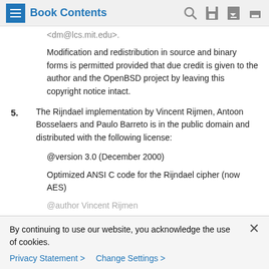Book Contents
<dm@lcs.mit.edu>.
Modification and redistribution in source and binary forms is permitted provided that due credit is given to the author and the OpenBSD project by leaving this copyright notice intact.
5. The Rijndael implementation by Vincent Rijmen, Antoon Bosselaers and Paulo Barreto is in the public domain and distributed with the following license:
@version 3.0 (December 2000)
Optimized ANSI C code for the Rijndael cipher (now AES)
@author Vincent Rijmen
By continuing to use our website, you acknowledge the use of cookies.
Privacy Statement > Change Settings >